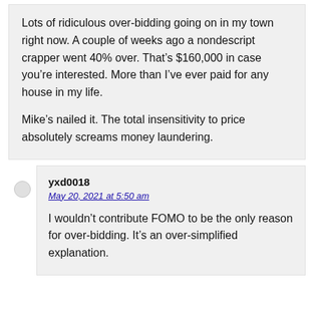Lots of ridiculous over-bidding going on in my town right now. A couple of weeks ago a nondescript crapper went 40% over. That’s $160,000 in case you’re interested. More than I’ve ever paid for any house in my life.

Mike’s nailed it. The total insensitivity to price absolutely screams money laundering.
yxd0018
May 20, 2021 at 5:50 am
I wouldn’t contribute FOMO to be the only reason for over-bidding. It’s an over-simplified explanation.